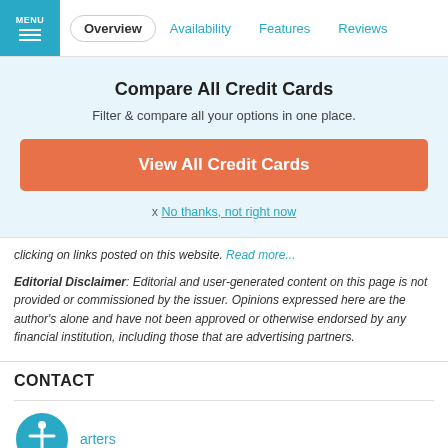MENU | Overview | Availability | Features | Reviews
Compare All Credit Cards
Filter & compare all your options in one place.
View All Credit Cards
x No thanks, not right now
clicking on links posted on this website. Read more...
Editorial Disclaimer: Editorial and user-generated content on this page is not provided or commissioned by the issuer. Opinions expressed here are the author's alone and have not been approved or otherwise endorsed by any financial institution, including those that are advertising partners.
CONTACT
arters